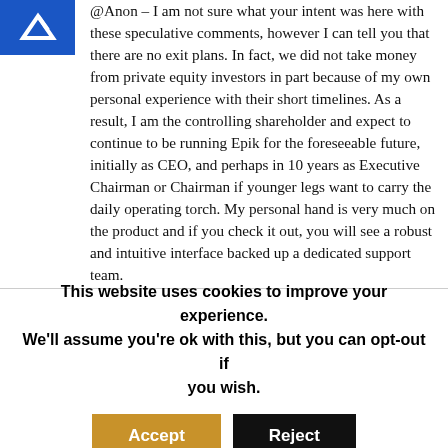[Figure (logo): Blue square avatar/logo icon with white arrow-like symbol]
@Anon – I am not sure what your intent was here with these speculative comments, however I can tell you that there are no exit plans. In fact, we did not take money from private equity investors in part because of my own personal experience with their short timelines. As a result, I am the controlling shareholder and expect to continue to be running Epik for the foreseeable future, initially as CEO, and perhaps in 10 years as Executive Chairman or Chairman if younger legs want to carry the daily operating torch. My personal hand is very much on the product and if you check it out, you will see a robust and intuitive interface backed up a dedicated support team.
As context, the decision in 2011 to become a full-service accredited registrar was not on a whim. It was a very deliberate statement that (1) I believe in the domain
This website uses cookies to improve your experience. We'll assume you're ok with this, but you can opt-out if you wish.